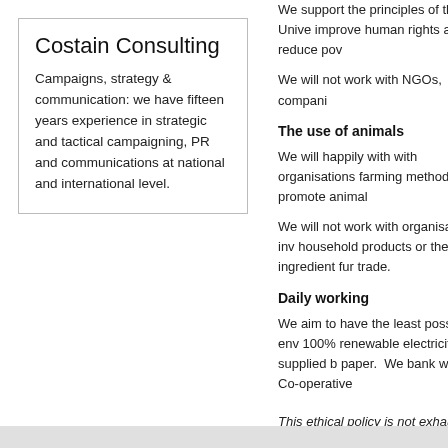Costain Consulting
Campaigns, strategy & communication: we have fifteen years experience in strategic and tactical campaigning, PR and communications at national and international level.
We support the principles of the Unive... improve human rights and reduce pov...
We will not work with NGOs, compani...
The use of animals
We will happily with with organisations... farming methods that promote animal...
We will not work with organisations inv... household products or their ingredient... fur trade.
Daily working
We aim to have the least possible env... 100% renewable electricity, supplied b... paper.  We bank with the Co-operative...
This ethical policy is not exhaustive, a... policy in any circumstance not specifi...